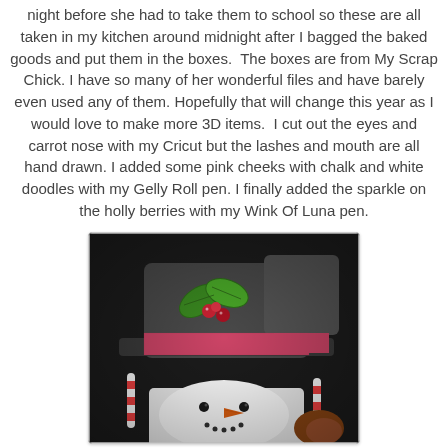night before she had to take them to school so these are all taken in my kitchen around midnight after I bagged the baked goods and put them in the boxes. The boxes are from My Scrap Chick. I have so many of her wonderful files and have barely even used any of them. Hopefully that will change this year as I would love to make more 3D items. I cut out the eyes and carrot nose with my Cricut but the lashes and mouth are all hand drawn. I added some pink cheeks with chalk and white doodles with my Gelly Roll pen. I finally added the sparkle on the holly berries with my Wink Of Luna pen.
[Figure (photo): Close-up photo of a snowman craft box with a black top hat decorated with green holly leaves and red berries, a pink/red ribbon band, and a snowman face with orange carrot nose, black button eyes, and candy canes visible in background.]